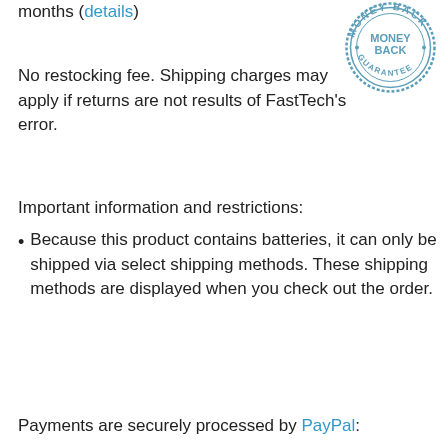months (details)
[Figure (illustration): Round money-back guarantee stamp in blue/teal color with text 'MONEY BACK GUARANTEE' around the border]
No restocking fee. Shipping charges may apply if returns are not results of FastTech's error.
Important information and restrictions:
Because this product contains batteries, it can only be shipped via select shipping methods. These shipping methods are displayed when you check out the order.
Payments are securely processed by PayPal: